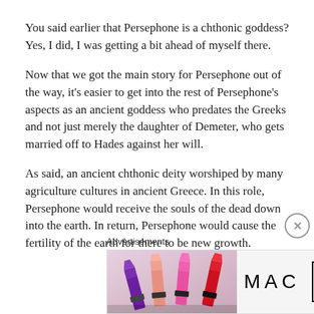You said earlier that Persephone is a chthonic goddess? Yes, I did, I was getting a bit ahead of myself there.
Now that we got the main story for Persephone out of the way, it's easier to get into the rest of Persephone's aspects as an ancient goddess who predates the Greeks and not just merely the daughter of Demeter, who gets married off to Hades against her will.
As said, an ancient chthonic deity worshiped by many agriculture cultures in ancient Greece. In this role, Persephone would receive the souls of the dead down into the earth. In return, Persephone would cause the fertility of the earth for there to be new growth.
[Figure (other): Advertisement banner for MAC cosmetics showing lipsticks in purple, pink, and red shades with MAC logo and SHOP NOW button]